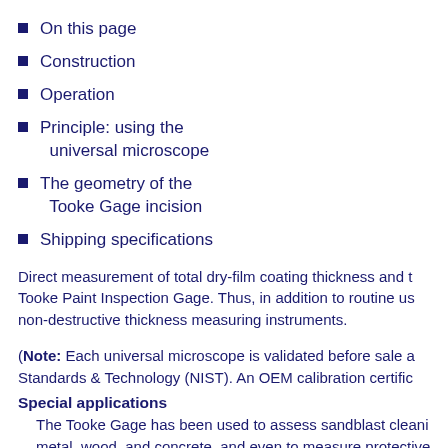On this page
Construction
Operation
Principle: using the universal microscope
The geometry of the Tooke Gage incision
Shipping specifications
Direct measurement of total dry-film coating thickness and t Tooke Paint Inspection Gage. Thus, in addition to routine us non-destructive thickness measuring instruments.
(Note: Each universal microscope is validated before sale a Standards & Technology (NIST). An OEM calibration certific
Special applications
The Tooke Gage has been used to assess sandblast cleani metal, wood, and concrete, and even to measure protective measuring paint on plastics. The quality of the incision in the and adhesion of the material.